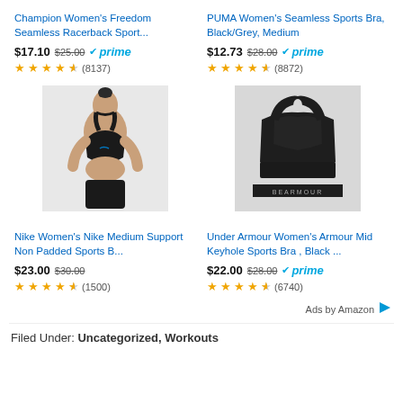Champion Women's Freedom Seamless Racerback Sport...
$17.10  $25.00  prime  ★★★★☆ (8137)
PUMA Women's Seamless Sports Bra, Black/Grey, Medium
$12.73  $28.00  prime  ★★★★☆ (8872)
[Figure (photo): Nike women's black sports bra worn by a model with hair up]
[Figure (photo): Under Armour black mid keyhole sports bra product shot]
Nike Women's Nike Medium Support Non Padded Sports B...
$23.00  $30.00  ★★★★☆ (1500)
Under Armour Women's Armour Mid Keyhole Sports Bra , Black ...
$22.00  $28.00  prime  ★★★★☆ (6740)
Ads by Amazon
Filed Under: Uncategorized, Workouts